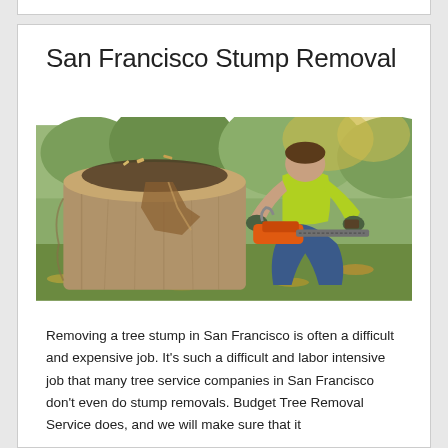San Francisco Stump Removal
[Figure (photo): A worker in a bright yellow/green safety shirt kneeling beside a large tree stump, using an orange chainsaw to cut into the wood. Autumn leaves are visible on the ground around the stump.]
Removing a tree stump in San Francisco is often a difficult and expensive job. It's such a difficult and labor intensive job that many tree service companies in San Francisco don't even do stump removals. Budget Tree Removal Service does, and we will make sure that it